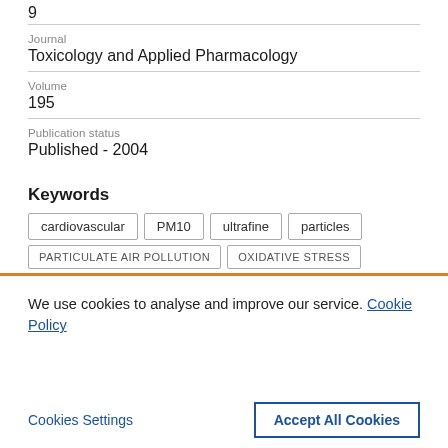9
Journal
Toxicology and Applied Pharmacology
Volume
195
Publication status
Published - 2004
Keywords
cardiovascular
PM10
ultrafine
particles
PARTICULATE AIR POLLUTION
OXIDATIVE STRESS
We use cookies to analyse and improve our service. Cookie Policy
Cookies Settings
Accept All Cookies